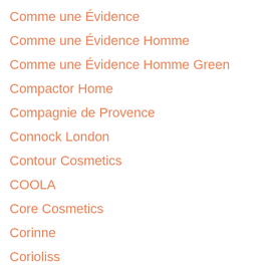Comme une Évidence
Comme une Évidence Homme
Comme une Évidence Homme Green
Compactor Home
Compagnie de Provence
Connock London
Contour Cosmetics
COOLA
Core Cosmetics
Corinne
Corioliss
Cosmetic Organizer